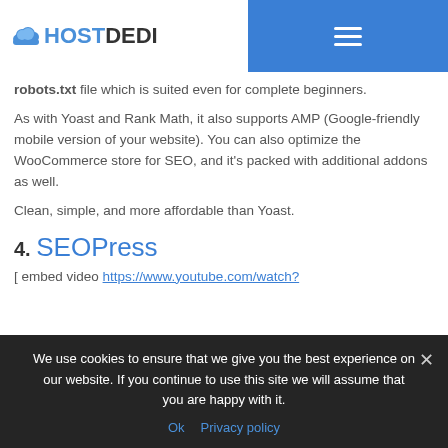HOSTDEDI (logo with hamburger menu)
robots.txt file which is suited even for complete beginners.
As with Yoast and Rank Math, it also supports AMP (Google-friendly mobile version of your website). You can also optimize the WooCommerce store for SEO, and it's packed with additional addons as well.
Clean, simple, and more affordable than Yoast.
4. SEOPress
[ embed video https://www.youtube.com/watch?
We use cookies to ensure that we give you the best experience on our website. If you continue to use this site we will assume that you are happy with it.
Ok  Privacy policy